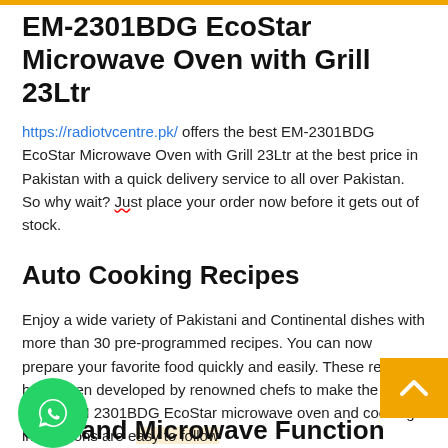EM-2301BDG EcoStar Microwave Oven with Grill 23Ltr
https://radiotvcentre.pk/ offers the best EM-2301BDG EcoStar Microwave Oven with Grill 23Ltr at the best price in Pakistan with a quick delivery service to all over Pakistan. So why wait? Just place your order now before it gets out of stock.
Auto Cooking Recipes
Enjoy a wide variety of Pakistani and Continental dishes with more than 30 pre-programmed recipes. You can now prepare your favorite food quickly and easily. These recipes have been developed by renowned chefs to make the best use of EM 2301BDG EcoStar microwave oven and cooking instructions are easy to follow
Grill and Microwave Function